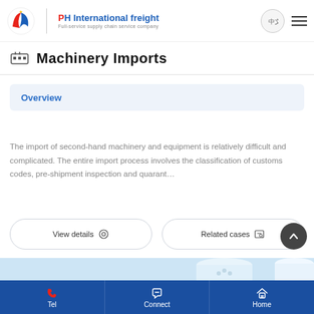PH International freight — Full-service supply chain service company
Machinery Imports
Overview
The import of second-hand machinery and equipment is relatively difficult and complicated. The entire import process involves the classification of customs codes, pre-shipment inspection and quarant…
View details
Related cases
[Figure (photo): Partial product image visible at bottom of page, light blue background]
Tel   Connect   Home